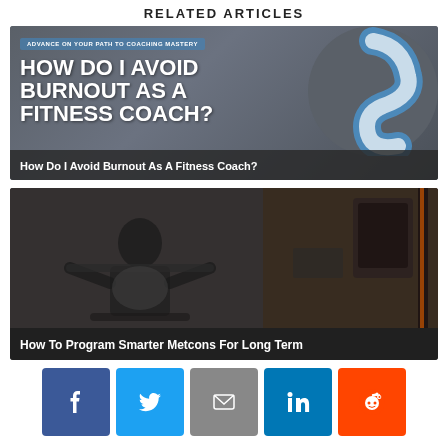RELATED ARTICLES
[Figure (photo): Banner image for article about avoiding burnout as a fitness coach. Dark gray background with large bold white text 'HOW DO I AVOID BURNOUT AS A FITNESS COACH?', blue banner text 'ADVANCE ON YOUR PATH TO COACHING MASTERY', and a stylized S-logo on the right.]
How Do I Avoid Burnout As A Fitness Coach?
[Figure (photo): Photo of a man with a beard sitting on a rowing machine in a gym, wearing a white t-shirt. Background shows gym equipment.]
How To Program Smarter Metcons For Long Term
[Figure (infographic): Social media share buttons: Facebook (blue), Twitter (light blue), Email (gray), LinkedIn (dark blue), Reddit (orange)]